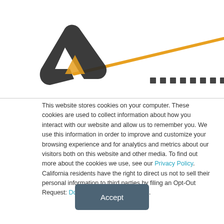[Figure (logo): Company logo with stylized dark letter A and orange diagonal swoosh/line, followed by dotted line pattern]
This website stores cookies on your computer. These cookies are used to collect information about how you interact with our website and allow us to remember you. We use this information in order to improve and customize your browsing experience and for analytics and metrics about our visitors both on this website and other media. To find out more about the cookies we use, see our Privacy Policy. California residents have the right to direct us not to sell their personal information to third parties by filing an Opt-Out Request: Do Not Sell My Personal Info.
Accept